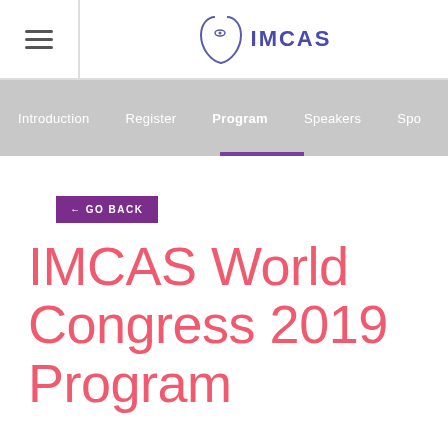IMCAS (logo with navigation)
← GO BACK
IMCAS World Congress 2019 Program